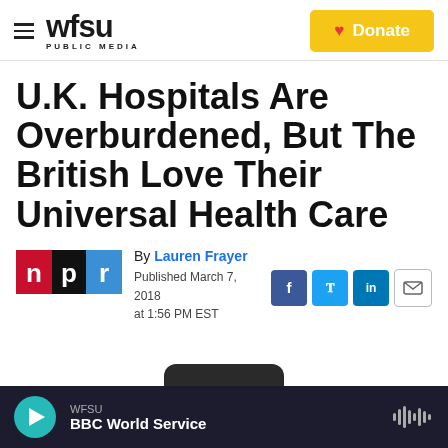WFSU PUBLIC MEDIA — Donate
U.K. Hospitals Are Overburdened, But The British Love Their Universal Health Care
By Lauren Frayer
Published March 7, 2018 at 1:56 PM EST
WFSU BBC World Service